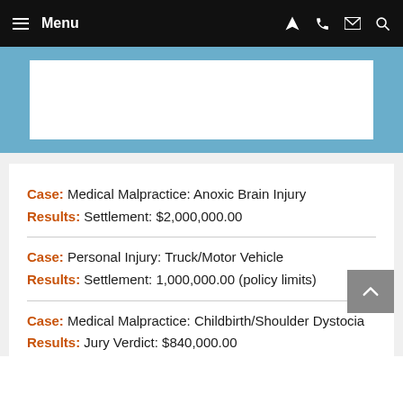Menu
[Figure (other): Blue banner with white inner box, partially visible]
Case: Medical Malpractice: Anoxic Brain Injury
Results: Settlement: $2,000,000.00
Case: Personal Injury: Truck/Motor Vehicle
Results: Settlement: 1,000,000.00 (policy limits)
Case: Medical Malpractice: Childbirth/Shoulder Dystocia
Results: Jury Verdict: $840,000.00